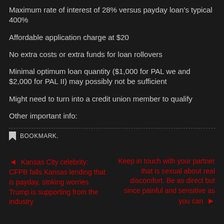Maximum rate of interest of 28% versus payday loan's typical 400%
Affordable application charge at $20
No extra costs or extra funds for loan rollovers
Minimal optimum loan quantity ($1,000 for PAL we and $2,000 for PAL II) may possibly not be sufficient
Might need to turn into a credit union member to qualify
Other important info:
BOOKMARK.
← Kansas City celebrity: CFPB falls Kansas lending that is payday, stoking worries Trump is supporting from the industry
Keep in touch with your partner that is sexual about real discomfort. Be as direct but since painful and sensitive as you can →